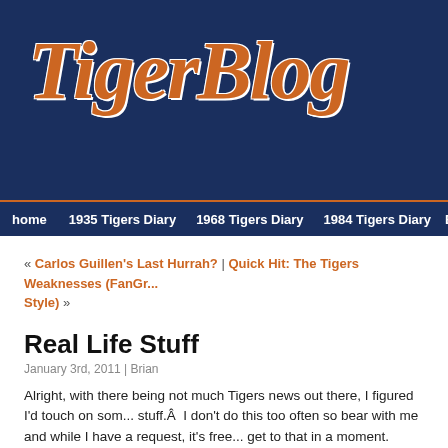[Figure (logo): TigerBlog logo in orange italic script on dark navy blue background]
home | 1935 Tigers Diary | 1968 Tigers Diary | 1984 Tigers Diary | Base...
« Carlos Guillen's Last Hurrah? | Quick Hit: The Tigers Weaknesses (FanGr... Style) »
Real Life Stuff
January 3rd, 2011 | Brian
Alright, with there being not much Tigers news out there, I figured I'd touch on some real life stuff.Â  I don't do this too often so bear with me and while I have a request, it's free... get to that in a moment.
At one point in time, I had dreams of becoming a full time blogger.Â  Those plans fi... bit when one of the big search engines put a gigantic hole in my business model.Â  since the beginning of 2009, I've been focusing on what I went to school for and I restarted my CPA practice.Â  2010 has been a challenging year for me but despi... challenges, I've been able to grow my business.Â  Now in 2011, I'm looking to take...